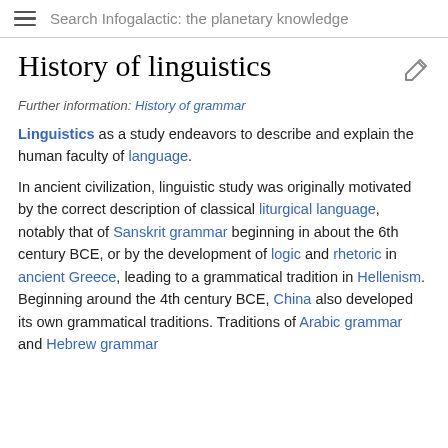Search Infogalactic: the planetary knowledge
History of linguistics
Further information: History of grammar
Linguistics as a study endeavors to describe and explain the human faculty of language.
In ancient civilization, linguistic study was originally motivated by the correct description of classical liturgical language, notably that of Sanskrit grammar beginning in about the 6th century BCE, or by the development of logic and rhetoric in ancient Greece, leading to a grammatical tradition in Hellenism. Beginning around the 4th century BCE, China also developed its own grammatical traditions. Traditions of Arabic grammar and Hebrew grammar